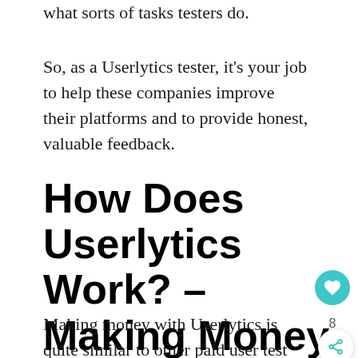what sorts of tasks testers do.
So, as a Userlytics tester, it's your job to help these companies improve their platforms and to provide honest, valuable feedback.
How Does Userlytics Work? – Making Money With The Platform
Making money with Userlytics is quite similar to other paid user test websites.